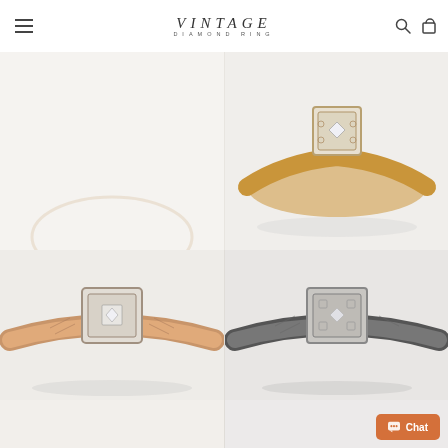VINTAGE DIAMOND RING
[Figure (photo): Vintage rose gold diamond solitaire engagement ring with ornate Art Deco styling, square white gold head, rose gold band]
VINTAGE ROSE GOLD DIAMOND SOLITAIRE ENGAGEMENT RING
$1,600.00
[Figure (photo): Vintage split shank engagement ring with ornate filigree setting, gold toned band with diamond center]
VINTAGE SPLIT SHANK ENGAGEMENT RING
$1,650.00
[Figure (photo): Vintage rose gold art deco ring with white gold square head setting and diamond center stone, engraved band]
[Figure (photo): Vintage white gold or platinum art deco ring with squared head, engraved shank, and diamond center stone]